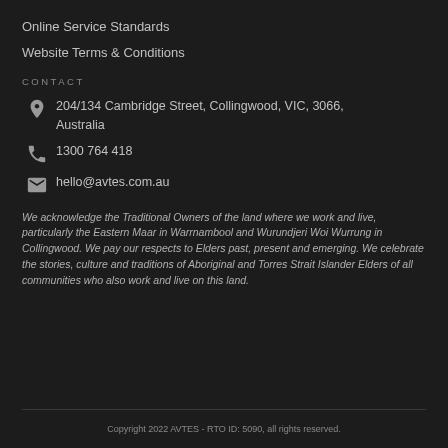Online Service Standards
Website Terms & Conditions
CONTACT
204/134 Cambridge Street, Collingwood, VIC, 3066, Australia
1300 764 418
hello@avtes.com.au
We acknowledge the Traditional Owners of the land where we work and live, particularly the Eastern Maar in Warrnambool and Wurundjeri Woi Wurrung in Collingwood. We pay our respects to Elders past, present and emerging. We celebrate the stories, culture and traditions of Aboriginal and Torres Strait Islander Elders of all communities who also work and live on this land.
Copyright 2022 AVTES - RTO ID: 5090, all rights reserved.